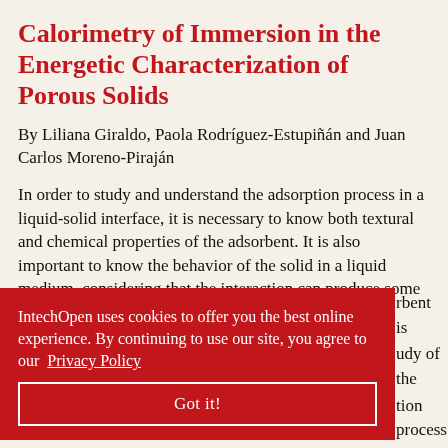Calorimetry of Immersion in the Energetic Characterization of Porous Solids
By Liliana Giraldo, Paola Rodríguez-Estupiñán and Juan Carlos Moreno-Piraján
In order to study and understand the adsorption process in a liquid-solid interface, it is necessary to know both textural and chemical properties of the adsorbent. It is also important to know the behavior of the solid in a liquid medium, considering that the interaction can produce some changes in the texture and the
rbent is udy of the tion process rimetry can quid–solid interactions. The parameter that is evaluated by
IntechOpen uses cookies to offer you the best online experience. By continuing to use our site, you agree to our Privacy Policy
Got it!